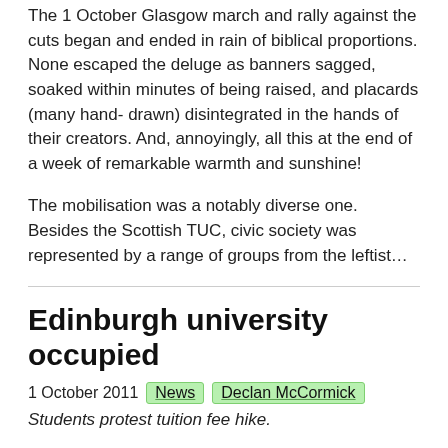The 1 October Glasgow march and rally against the cuts began and ended in rain of biblical proportions. None escaped the deluge as banners sagged, soaked within minutes of being raised, and placards (many hand- drawn) disintegrated in the hands of their creators. And, annoyingly, all this at the end of a week of remarkable warmth and sunshine!
The mobilisation was a notably diverse one. Besides the Scottish TUC, civic society was represented by a range of groups from the leftist...
Edinburgh university occupied
1 October 2011  News  Declan McCormick
Students protest tuition fee hike.
On 17 September, students began an occupation of Edinburgh University's George Square lecture theatre that lasted 36 hours. A hundred students were